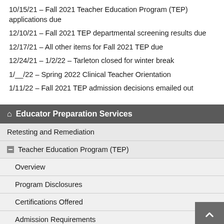10/15/21 – Fall 2021 Teacher Education Program (TEP) applications due
12/10/21 – Fall 2021 TEP departmental screening results due
12/17/21 – All other items for Fall 2021 TEP due
12/24/21 – 1/2/22 – Tarleton closed for winter break
1/__/22 – Spring 2022 Clinical Teacher Orientation
1/11/22 – Fall 2021 TEP admission decisions emailed out
🏠 Educator Preparation Services
Retesting and Remediation
– Teacher Education Program (TEP)
Overview
Program Disclosures
Certifications Offered
Admission Requirements
Apply Now!